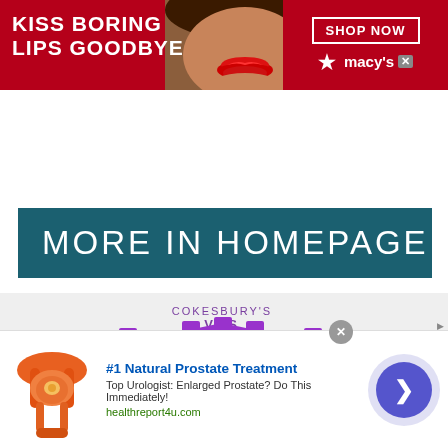[Figure (screenshot): Macy's advertisement banner: dark red background with white text 'KISS BORING LIPS GOODBYE', a woman's face with red lips in center, and 'SHOP NOW' button with Macy's star logo on right]
MORE IN HOMEPAGE
[Figure (logo): Cokesbury's VBS Knights logo - purple 3D castle-style lettering reading 'KNIGHTS' with 'COKESBURY'S VBS' text above]
[Figure (screenshot): Bottom advertisement: '#1 Natural Prostate Treatment' - Top Urologist: Enlarged Prostate? Do This Immediately! healthreport4u.com. Shows anatomical prostate image on left, blue arrow button on right.]